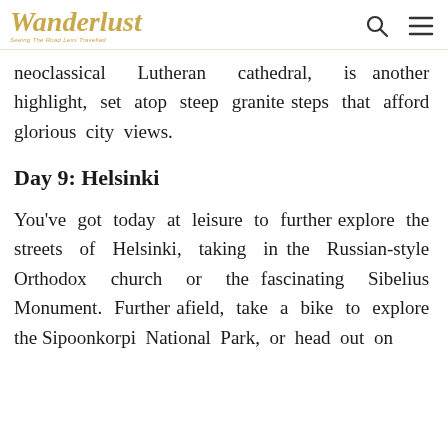Wanderlust — Seeing The Road Less Travelled
neoclassical Lutheran cathedral, is another highlight, set atop steep granite steps that afford glorious city views.
Day 9: Helsinki
You've got today at leisure to further explore the streets of Helsinki, taking in the Russian-style Orthodox church or the fascinating Sibelius Monument. Further afield, take a bike to explore the Sipoonkorpi National Park, or head out on